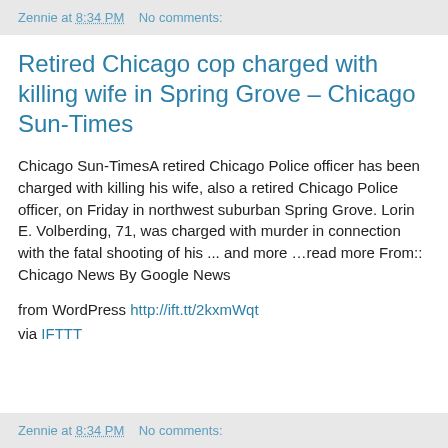Zennie at 8:34 PM    No comments:
Retired Chicago cop charged with killing wife in Spring Grove – Chicago Sun-Times
Chicago Sun-TimesA retired Chicago Police officer has been charged with killing his wife, also a retired Chicago Police officer, on Friday in northwest suburban Spring Grove. Lorin E. Volberding, 71, was charged with murder in connection with the fatal shooting of his ... and more …read more From:: Chicago News By Google News
from WordPress http://ift.tt/2kxmWqt
via IFTTT
Zennie at 8:34 PM    No comments: